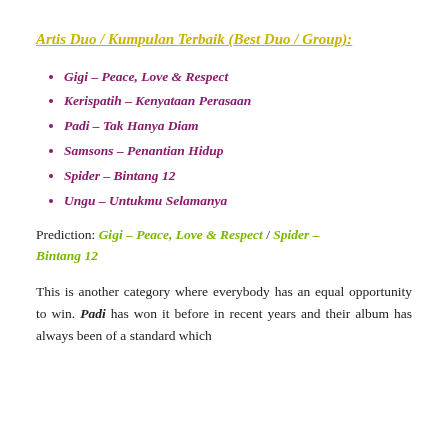Artis Duo / Kumpulan Terbaik (Best Duo / Group):
Gigi – Peace, Love & Respect
Kerispatih – Kenyataan Perasaan
Padi – Tak Hanya Diam
Samsons – Penantian Hidup
Spider – Bintang 12
Ungu – Untukmu Selamanya
Prediction: Gigi – Peace, Love & Respect / Spider – Bintang 12
This is another category where everybody has an equal opportunity to win. Padi has won it before in recent years and their album has always been of a standard which